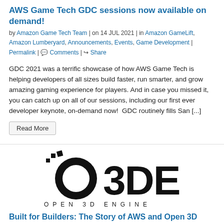AWS Game Tech GDC sessions now available on demand!
by Amazon Game Tech Team | on 14 JUL 2021 | in Amazon GameLift, Amazon Lumberyard, Announcements, Events, Game Development | Permalink | Comments | Share
GDC 2021 was a terrific showcase of how AWS Game Tech is helping developers of all sizes build faster, run smarter, and grow amazing gaming experience for players. And in case you missed it, you can catch up on all of our sessions, including our first ever developer keynote, on-demand now!  GDC routinely fills San [...]
Read More
[Figure (logo): O3DE Open 3D Engine logo — large bold black text showing O3DE with a stylized O, and 'OPEN 3D ENGINE' in spaced caps below]
Built for Builders: The Story of AWS and Open 3D Engine – Developer Preview
by Amazon Game Tech Team | on 06 JUL 2021 | in Amazon Lumberyard,